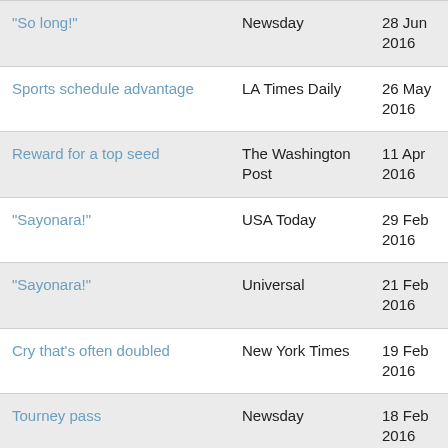| "So long!" | Newsday | 28 Jun 2016 |
| Sports schedule advantage | LA Times Daily | 26 May 2016 |
| Reward for a top seed | The Washington Post | 11 Apr 2016 |
| "Sayonara!" | USA Today | 29 Feb 2016 |
| "Sayonara!" | Universal | 21 Feb 2016 |
| Cry that's often doubled | New York Times | 19 Feb 2016 |
| Tourney pass | Newsday | 18 Feb 2016 |